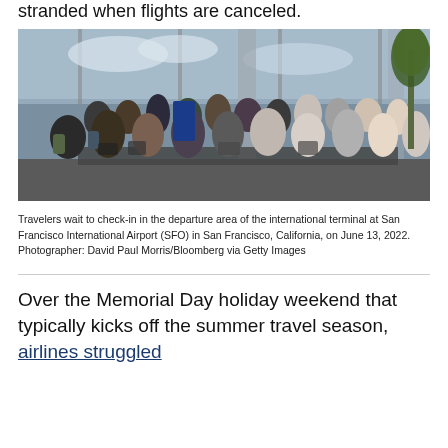stranded when flights are canceled.
[Figure (photo): Travelers wait to check-in in the departure area of the international terminal at San Francisco International Airport (SFO). Large crowd of people with luggage at check-in counters, tall windows with cloudy sky in background, palm tree visible on right side.]
Travelers wait to check-in in the departure area of the international terminal at San Francisco International Airport (SFO) in San Francisco, California, on June 13, 2022. Photographer: David Paul Morris/Bloomberg via Getty Images
Over the Memorial Day holiday weekend that typically kicks off the summer travel season, airlines struggled